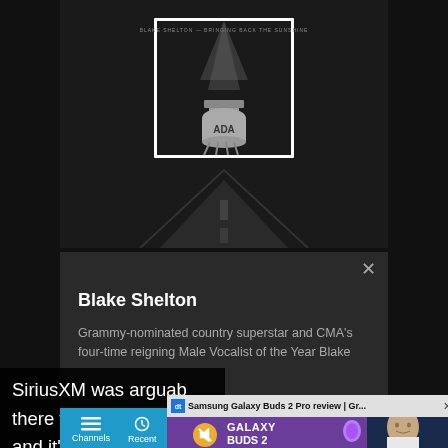[Figure (screenshot): SiriusXM app screenshot showing Blake Shelton artist page with album art (water tower black and white), artist info panel with close button, and bottom navigation bar with Channels and Recent tabs]
Blake Shelton
Grammy-nominated country superstar and CMA's four-time reigning Male Vocalist of the Year Blake
[Figure (screenshot): Video popup overlay for Samsung Galaxy Buds 2 Pro review by Digital Trends, showing purple earbuds and reviewer]
Samsung Galaxy Buds 2 Pro review | Gr...
SiriusXM was arguab there to get this who and it’s steadily evol mix of music as well